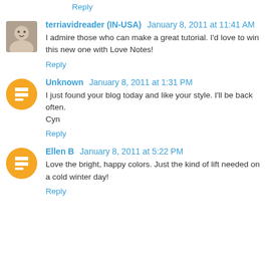Reply
terriavidreader (IN-USA)  January 8, 2011 at 11:41 AM
I admire those who can make a great tutorial. I'd love to win this new one with Love Notes!
Reply
Unknown  January 8, 2011 at 1:31 PM
I just found your blog today and like your style. I'll be back often.
Cyn
Reply
Ellen B  January 8, 2011 at 5:22 PM
Love the bright, happy colors. Just the kind of lift needed on a cold winter day!
Reply